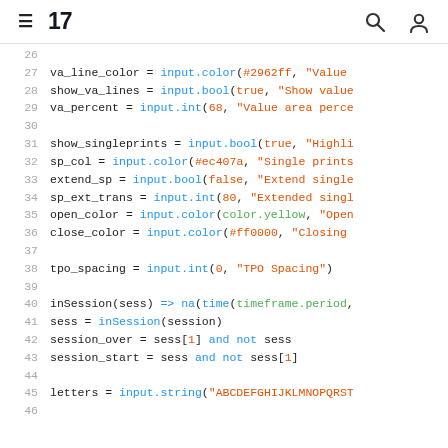TradingView code editor header with hamburger menu, logo '17', search icon, user icon
[Figure (screenshot): Code editor screenshot showing Pine Script lines 26-46 with syntax highlighting]
26  (empty)
27  va_line_color = input.color(#2962ff, "Value
28  show_va_lines = input.bool(true, "Show value
29  va_percent = input.int(68, "Value area perce
30  (empty)
31  show_singleprints = input.bool(true, "Highli
32  sp_col = input.color(#ec407a, "Single prints
33  extend_sp = input.bool(false, "Extend single
34  sp_ext_trans = input.int(80, "Extended singl
35  open_color = input.color(color.yellow, "Open
36  close_color = input.color(#ff0000, "Closing
37  (empty)
38  tpo_spacing = input.int(0, "TPO Spacing")
39  (empty)
40  inSession(sess) => na(time(timeframe.period,
41  sess = inSession(session)
42  session_over = sess[1] and not sess
43  session_start = sess and not sess[1]
44  (empty)
45  letters = input.string("ABCDEFGHIJKLMNOPQRST
46  (empty)